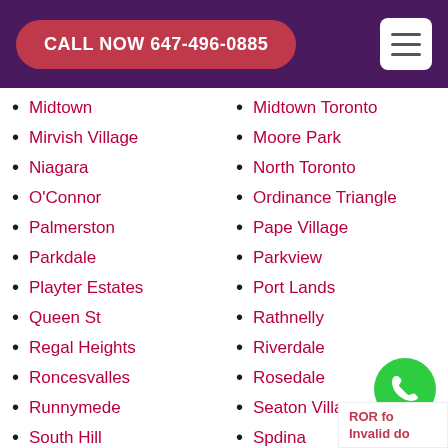CALL NOW 647-496-0885
Midtown
Midtown Toronto
Mirvish Village
Moore Park
Niagara
North Toronto
O'Connor
Ordinance Triangle
Palmerston
Pape Village
Parkdale
Parkview
Playter Estates
Port Lands
Queen St
Rathnelly
Regal Heights
Riverdale
Roncesvalles
Rosedale
Runnymede
Seaton Village
South Hill
Spdina
Suburban East York
Summerhill
Swansea
The Beaches
The Junction
Thorncliffe Park